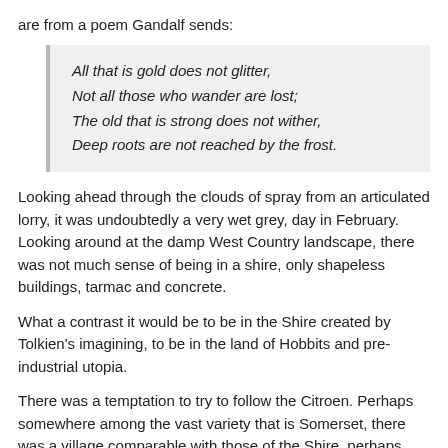are from a poem Gandalf sends:
All that is gold does not glitter,
Not all those who wander are lost;
The old that is strong does not wither,
Deep roots are not reached by the frost.
Looking ahead through the clouds of spray from an articulated lorry, it was undoubtedly a very wet grey, day in February. Looking around at the damp West Country landscape, there was not much sense of being in a shire, only shapeless buildings, tarmac and concrete.
What a contrast it would be to be in the Shire created by Tolkien’s imagining, to be in the land of Hobbits and pre-industrial utopia.
There was a temptation to try to follow the Citroen. Perhaps somewhere among the vast variety that is Somerset, there was a village comparable with those of the Shire, perhaps among the sturdy yeomen folk of the community there would be found